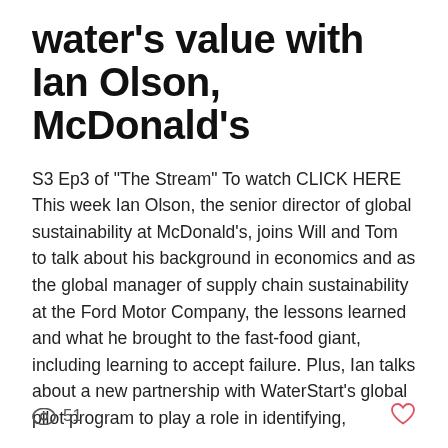water's value with Ian Olson, McDonald's
S3 Ep3 of "The Stream" To watch CLICK HERE This week Ian Olson, the senior director of global sustainability at McDonald's, joins Will and Tom to talk about his background in economics and as the global manager of supply chain sustainability at the Ford Motor Company, the lessons learned and what he brought to the fast-food giant, including learning to accept failure. Plus, Ian talks about a new partnership with WaterStart's global pilot program to play a role in identifying,
51 views, heart/like icon